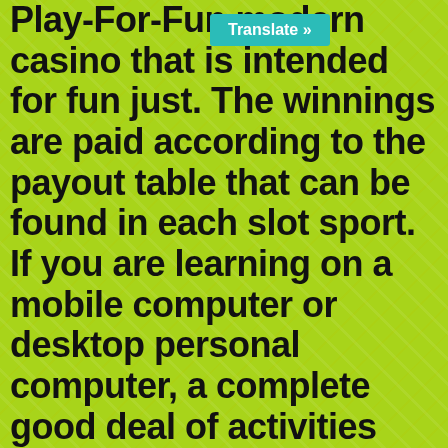Play-For-Fun modern casino that is intended for fun just. The winnings are paid according to the payout table that can be found in each slot sport. If you are learning on a mobile computer or desktop personal computer, a complete good deal of activities require that possess Thumb Guitar player enabled to take up them. Portable members should simply gain access to our web-site working with their visitor and select the video game they wish to carry out.